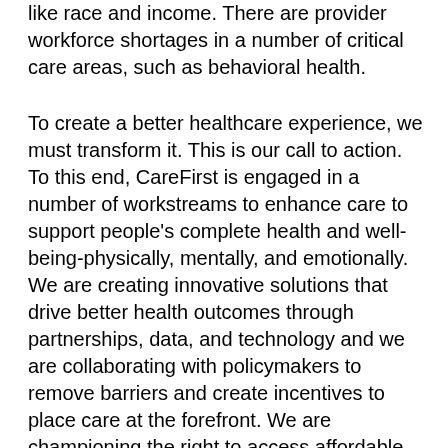like race and income. There are provider workforce shortages in a number of critical care areas, such as behavioral health.
To create a better healthcare experience, we must transform it. This is our call to action. To this end, CareFirst is engaged in a number of workstreams to enhance care to support people's complete health and well-being-physically, mentally, and emotionally. We are creating innovative solutions that drive better health outcomes through partnerships, data, and technology and we are collaborating with policymakers to remove barriers and create incentives to place care at the forefront. We are championing the right to access affordable, quality care and improving health equity for all we serve, and we are investing in community programs that support these critical endeavors. There is much work to be done, but CareFirst is committed to driving these critical changes in our region.